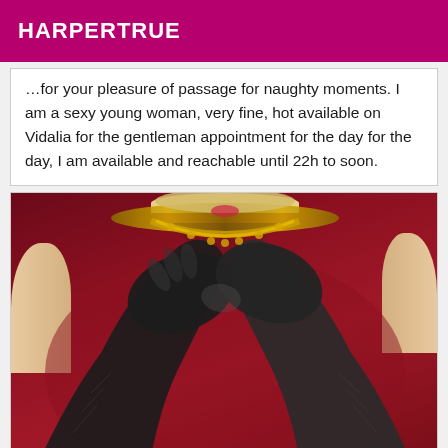HARPERTRUE
…for your pleasure of passage for naughty moments. I am a sexy young woman, very fine, hot available on Vidalia for the gentleman appointment for the day for the day, I am available and reachable until 22h to soon.
[Figure (photo): Woman in dark red/maroon sleeveless dress wearing long black leather gloves crossed over chest, with gold chain necklace, blonde hair partially visible at top]